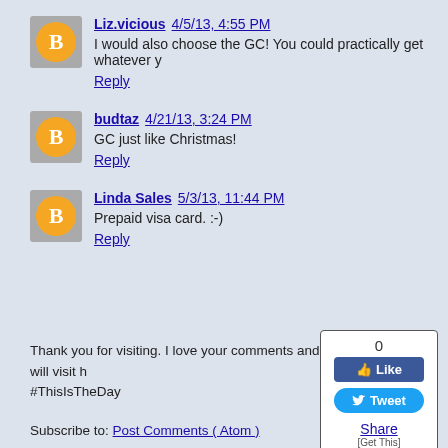Liz.vicious 4/5/13, 4:55 PM — I would also choose the GC! You could practically get whatever y — Reply
budtaz 4/21/13, 3:24 PM — GC just like Christmas! — Reply
Linda Sales 5/3/13, 11:44 PM — Prepaid visa card. :-) — Reply
[Figure (other): Social share widget showing Like (0) and Tweet buttons, Share link, and Get This link]
Thank you for visiting. I love your comments and will visit h #ThisIsTheDay
Subscribe to: Post Comments ( Atom )